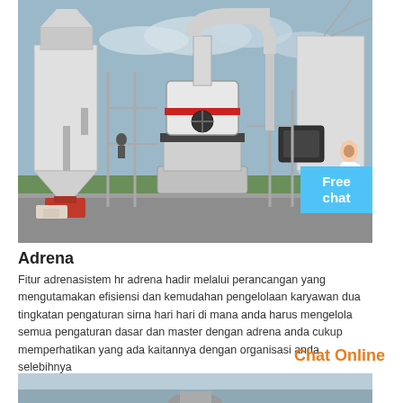[Figure (photo): Industrial grinding mill machinery installation with silos, pipes, and large cylindrical mill unit outdoors with green fields in background]
Adrena
Fitur adrenasistem hr adrena hadir melalui perancangan yang mengutamakan efisiensi dan kemudahan pengelolaan karyawan dua tingkatan pengaturan sirna hari hari di mana anda harus mengelola semua pengaturan dasar dan master dengan adrena anda cukup memperhatikan yang ada kaitannya dengan organisasi anda selebihnya
Chat Online
[Figure (photo): Partial view of another industrial machine or equipment, bottom of page]